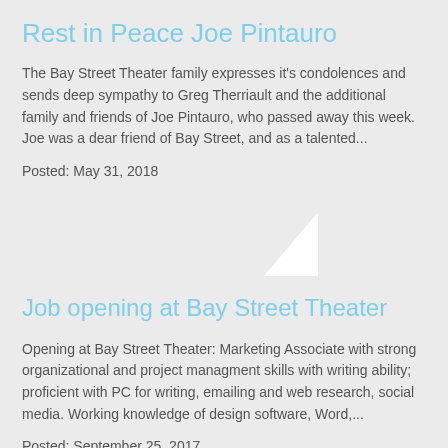Rest in Peace Joe Pintauro
The Bay Street Theater family expresses it's condolences and sends deep sympathy to Greg Therriault and the additional family and friends of Joe Pintauro, who passed away this week. Joe was a dear friend of Bay Street, and as a talented...
Posted: May 31, 2018
Job opening at Bay Street Theater
Opening at Bay Street Theater: Marketing Associate with strong organizational and project managment skills with writing ability; proficient with PC for writing, emailing and web research, social media. Working knowledge of design software, Word,...
Posted: September 25, 2017